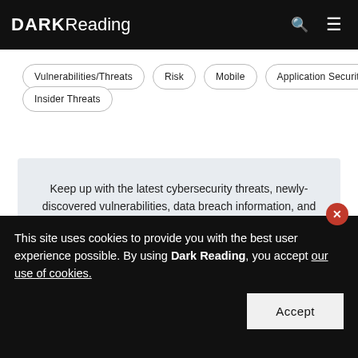DARK Reading
Vulnerabilities/Threats
Risk
Mobile
Application Security
Insider Threats
Keep up with the latest cybersecurity threats, newly-discovered vulnerabilities, data breach information, and emerging trends. Delivered daily or weekly right to your email inbox.
This site uses cookies to provide you with the best user experience possible. By using Dark Reading, you accept our use of cookies.